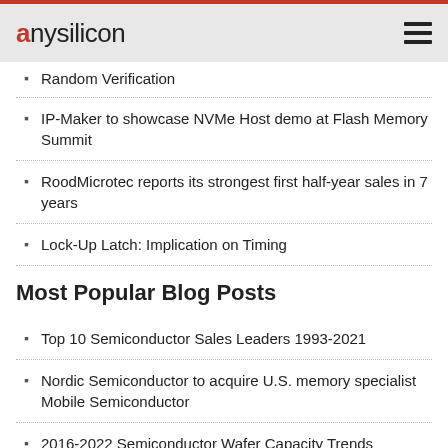anysilicon
Random Verification
IP-Maker to showcase NVMe Host demo at Flash Memory Summit
RoodMicrotec reports its strongest first half-year sales in 7 years
Lock-Up Latch: Implication on Timing
Most Popular Blog Posts
Top 10 Semiconductor Sales Leaders 1993-2021
Nordic Semiconductor to acquire U.S. memory specialist Mobile Semiconductor
2016-2022 Semiconductor Wafer Capacity Trends
RISC-V IP Cores Overview
MOSCHIP Announces High Speed Serial Trace Probe (HSSTP) PHY With Link Layer Info...